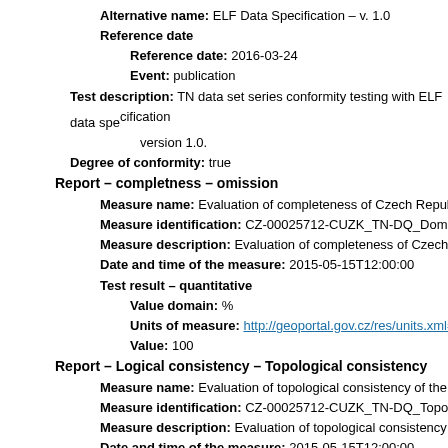Alternative name: ELF Data Specification – v. 1.0
Reference date
Reference date: 2016-03-24
Event: publication
Test description: TN data set series conformity testing with ELF data specification version 1.0.
Degree of conformity: true
Report – completness – omission
Measure name: Evaluation of completeness of Czech Republic territory c…
Measure identification: CZ-00025712-CUZK_TN-DQ_DomainConsister…
Measure description: Evaluation of completeness of Czech Republic ter…
Date and time of the measure: 2015-05-15T12:00:00
Test result – quantitative
Value domain: %
Units of measure: http://geoportal.gov.cz/res/units.xml#percent
Value: 100
Report – Logical consistency – Topological consistency
Measure name: Evaluation of topological consistency of the data set seri…
Measure identification: CZ-00025712-CUZK_TN-DQ_TopologicalConsis…
Measure description: Evaluation of topological consistency of the TN da…
Date and time of the measure: 2015-05-15T12:00:00
Test result – compliance
Specification
Name: INSPIRE Data Specifications - Base Models - Generic Net…
Reference date